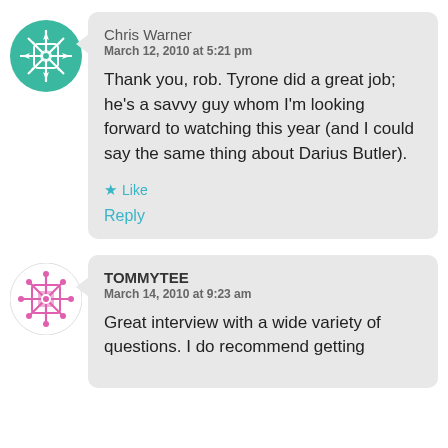[Figure (illustration): Green decorative mandala/snowflake avatar icon for Chris Warner]
Chris Warner
March 12, 2010 at 5:21 pm

Thank you, rob. Tyrone did a great job; he's a savvy guy whom I'm looking forward to watching this year (and I could say the same thing about Darius Butler).

★ Like

Reply
[Figure (illustration): Pink/magenta decorative mandala/snowflake avatar icon for TOMMYTEE]
TOMMYTEE
March 14, 2010 at 9:23 am

Great interview with a wide variety of questions. I do recommend getting